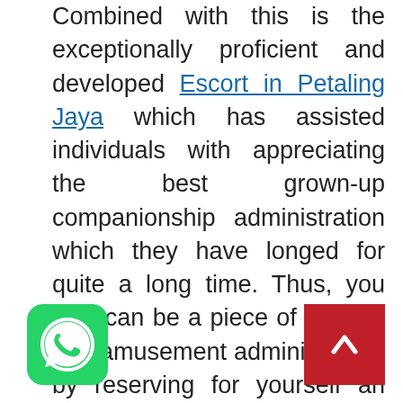Combined with this is the exceptionally proficient and developed Escort in Petaling Jaya which has assisted individuals with appreciating the best grown-up companionship administration which they have longed for quite a long time. Thus, you also can be a piece of this fun and amusement administration by reserving for yourself an amazingly hot in call escort or outcall escort in Malaysia.
[Figure (illustration): WhatsApp green icon button at bottom left]
[Figure (illustration): Red back-to-top button with white upward chevron at bottom right]